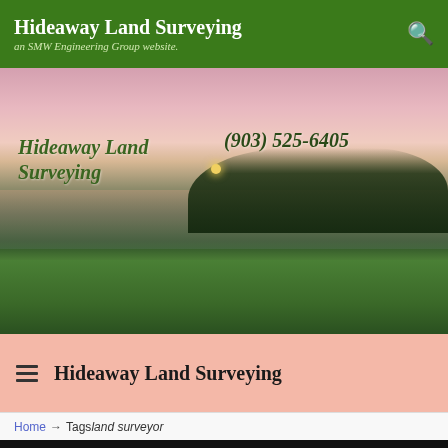Hideaway Land Surveying — an SMW Engineering Group website.
[Figure (photo): Scenic landscape photo of a golf course or park at dusk/sunset, featuring a green lawn with a pond/water feature reflecting the pink and orange sky. Trees silhouetted in the background. Text overlay reads 'Hideaway Land Surveying' and '(903) 525-6405'.]
Hideaway Land Surveying
Home → Tags land surveyor
[Figure (photo): Partial black strip at the bottom of the page, indicating the beginning of another content section below.]